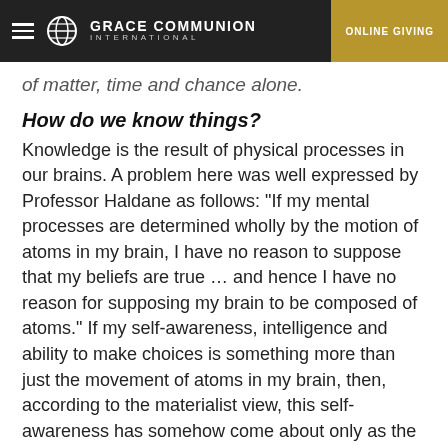Grace Communion International | ONLINE GIVING
of matter, time and chance alone.
How do we know things?
Knowledge is the result of physical processes in our brains. A problem here was well expressed by Professor Haldane as follows: "If my mental processes are determined wholly by the motion of atoms in my brain, I have no reason to suppose that my beliefs are true … and hence I have no reason for supposing my brain to be composed of atoms." If my self-awareness, intelligence and ability to make choices is something more than just the movement of atoms in my brain, then, according to the materialist view, this self-awareness has somehow come about only as the result of physical processes.